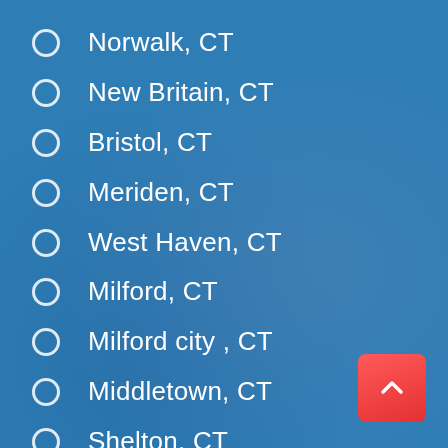Norwalk, CT
New Britain, CT
Bristol, CT
Meriden, CT
West Haven, CT
Milford, CT
Milford city , CT
Middletown, CT
Shelton, CT
Torrington, CT